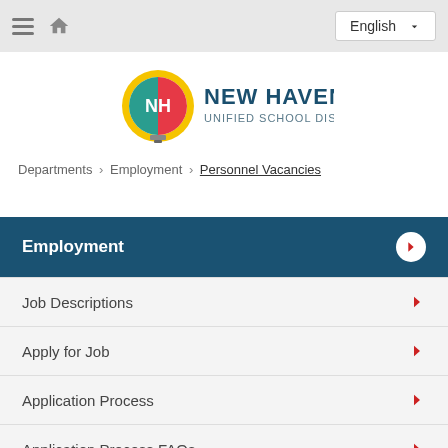English
[Figure (logo): New Haven Unified School District logo — colorful NH emblem with yellow/teal/red circular design and bold dark teal text]
Departments › Employment › Personnel Vacancies
Employment
Job Descriptions
Apply for Job
Application Process
Application Process FAQs